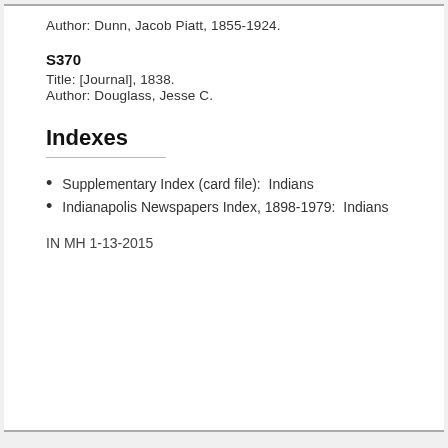Author: Dunn, Jacob Piatt, 1855-1924.
S370
Title: [Journal], 1838.
Author: Douglass, Jesse C.
Indexes
Supplementary Index (card file):  Indians
Indianapolis Newspapers Index, 1898-1979:  Indians
IN MH 1-13-2015